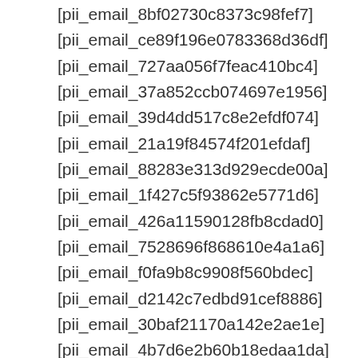[pii_email_8bf02730c8373c98fef7]
[pii_email_ce89f196e0783368d36df]
[pii_email_727aa056f7feac410bc4]
[pii_email_37a852ccb074697e1956]
[pii_email_39d4dd517c8e2efdf074]
[pii_email_21a19f84574f201efdaf]
[pii_email_88283e313d929ecde00a]
[pii_email_1f427c5f93862e5771d6]
[pii_email_426a11590128fb8cdad0]
[pii_email_7528696f868610e4a1a6]
[pii_email_f0fa9b8c9908f560bdec]
[pii_email_d2142c7edbd91cef8886]
[pii_email_30baf21170a142e2ae1e]
[pii_email_4b7d6e2b60b18edaa1da]
[pii_email_6a7fe5651f81d340ad63]
[pii_email_99ea2e65dad96153b6f7]
[pii_email_6440e5cab32c6bbac184]
[pii_email_63a477e4a099488ad6ba]
[pii_email_810d5c40795d224f2f51]